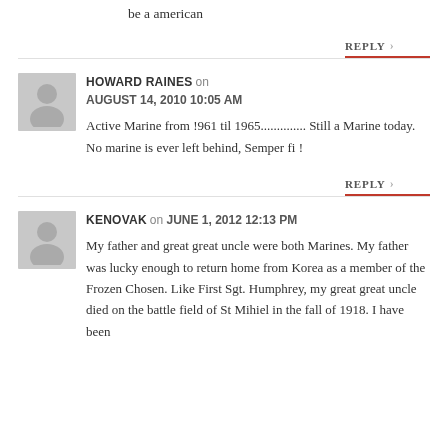be a american
REPLY
HOWARD RAINES on AUGUST 14, 2010 10:05 AM
Active Marine from !961 til 1965.............. Still a Marine today. No marine is ever left behind, Semper fi !
REPLY
KENOVAK on JUNE 1, 2012 12:13 PM
My father and great great uncle were both Marines. My father was lucky enough to return home from Korea as a member of the Frozen Chosen. Like First Sgt. Humphrey, my great great uncle died on the battle field of St Mihiel in the fall of 1918. I have been